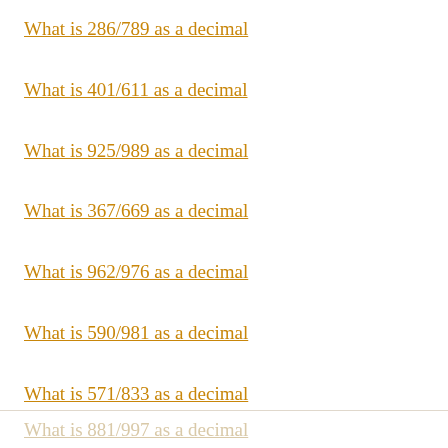What is 286/789 as a decimal
What is 401/611 as a decimal
What is 925/989 as a decimal
What is 367/669 as a decimal
What is 962/976 as a decimal
What is 590/981 as a decimal
What is 571/833 as a decimal
What is 881/997 as a decimal